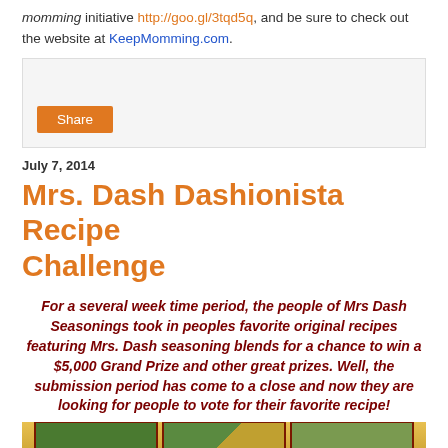momming initiative http://goo.gl/3tqd5q, and be sure to check out the website at KeepMomming.com.
[Figure (other): Social share widget box with a Share button]
July 7, 2014
Mrs. Dash Dashionista Recipe Challenge
For a several week time period, the people of Mrs Dash Seasonings took in peoples favorite original recipes featuring Mrs. Dash seasoning blends for a chance to win a $5,000 Grand Prize and other great prizes. Well, the submission period has come to a close and now they are looking for people to vote for their favorite recipe!
[Figure (photo): Bottom photo strip showing food/recipe images with yellow/orange background and dark red borders]